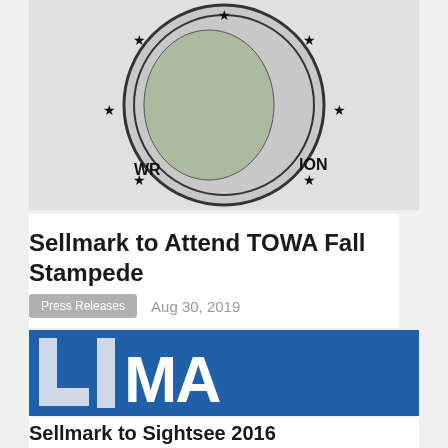[Figure (logo): Circular seal/logo with stars around the border and map imagery inside, partial view showing 'WR' and 'ION' text fragments]
Sellmark to Attend TOWA Fall Stampede
Press Releases   Aug 30, 2019
[Figure (logo): Blue background logo showing partial 'LAMA' text/letters in white and grey]
Sellmark to Sightsee 2016